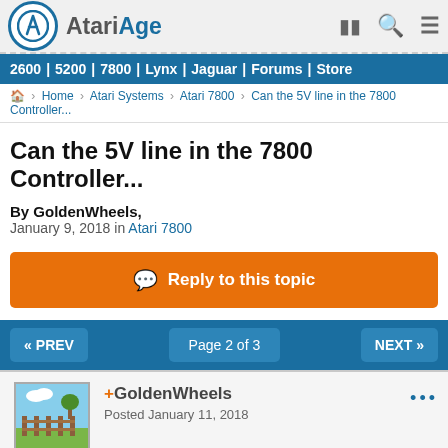AtariAge
2600 | 5200 | 7800 | Lynx | Jaguar | Forums | Store
Home > Atari Systems > Atari 7800 > Can the 5V line in the 7800 Controller...
Can the 5V line in the 7800 Controller...
By GoldenWheels,
January 9, 2018 in Atari 7800
Reply to this topic
<< PREV   Page 2 of 3   NEXT >>
+GoldenWheels
Posted January 11, 2018